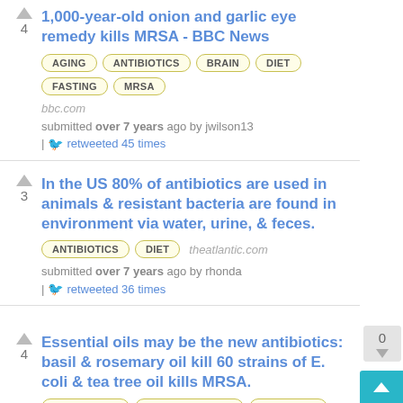1,000-year-old onion and garlic eye remedy kills MRSA - BBC News
Tags: AGING, ANTIBIOTICS, BRAIN, DIET, FASTING, MRSA
bbc.com
submitted over 7 years ago by jwilson13
retweeted 45 times
In the US 80% of antibiotics are used in animals & resistant bacteria are found in environment via water, urine, & feces.
Tags: ANTIBIOTICS, DIET
theatlantic.com
submitted over 7 years ago by rhonda
retweeted 36 times
Essential oils may be the new antibiotics: basil & rosemary oil kill 60 strains of E. coli & tea tree oil kills MRSA.
Tags: ANTIBIOTICS, IMMUNE SYSTEM, NUTRITION
theatlantic.com